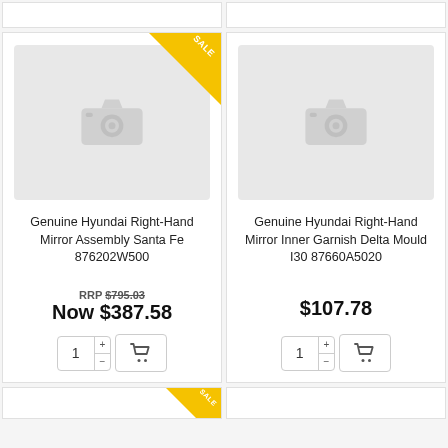[Figure (photo): Product listing card for Genuine Hyundai Right-Hand Mirror Assembly Santa Fe 876202W500 with camera placeholder image and SALE badge]
Genuine Hyundai Right-Hand Mirror Assembly Santa Fe 876202W500
RRP $795.03 Now $387.58
[Figure (photo): Product listing card for Genuine Hyundai Right-Hand Mirror Inner Garnish Delta Mould I30 87660A5020 with camera placeholder image]
Genuine Hyundai Right-Hand Mirror Inner Garnish Delta Mould I30 87660A5020
$107.78